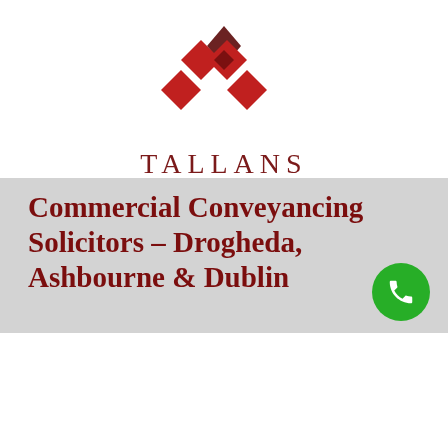[Figure (logo): Tallans Solicitors logo — four red diamond shapes arranged in a cross pattern with a dark brown square center, above the firm name 'TALLANS SOLICITORS est.1899']
≡ MENU
CONVEYANCING
This website uses cookies to improve your experience and gather non-personal information for statistical purposes. You can change these settings in your browser settings at any time.
Commercial Conveyancing Solicitors – Drogheda, Ashbourne & Dublin